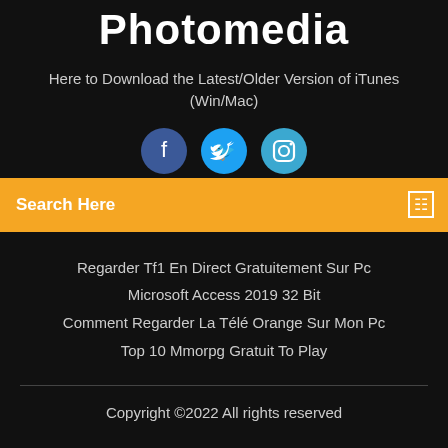Photomedia
Here to Download the Latest/Older Version of iTunes (Win/Mac)
[Figure (illustration): Three social media icon circles: Facebook (dark blue), Twitter (blue), Instagram (light blue)]
Search Here
Regarder Tf1 En Direct Gratuitement Sur Pc
Microsoft Access 2019 32 Bit
Comment Regarder La Télé Orange Sur Mon Pc
Top 10 Mmorpg Gratuit To Play
Copyright ©2022 All rights reserved